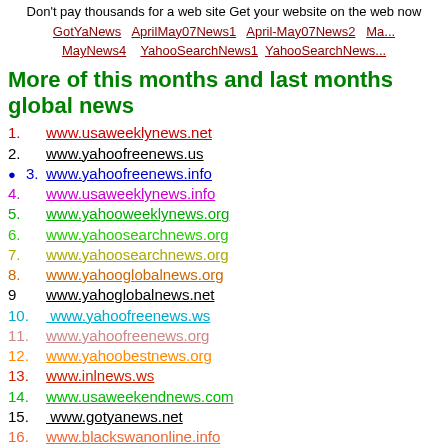Don't pay thousands for a web site Get your website on the web now GotYaNews AprilMay07News1 April-May07News2 Ma... MayNews4 YahooSearchNews1 YahooSearchNews...
More of this months and last months global news
1. www.usaweeklynews.net
2. www.yahoofreenews.us
3. www.yahoofreenews.info
4. www.usaweeklynews.info
5. www.yahooweeklynews.org
6. www.yahoosearchnews.org
7. www.yahoosearchnews.org
8. www.yahooglobalnews.org
9 www.yahoglobalnews.net
10. www.yahoofreenews.ws
11. www.yahoofreenews.org
12. www.yahoobestnews.org
13. www.inlnews.ws
14. www.usaweekendnews.com
15. www.gotyanews.net
16. www.blackswanonline.info
17. www.annanicolesmithworld.com
18. www.bigsisteronline.com
19. www.heathermillsmccartney.us
20. www.internationalnewslimited.com